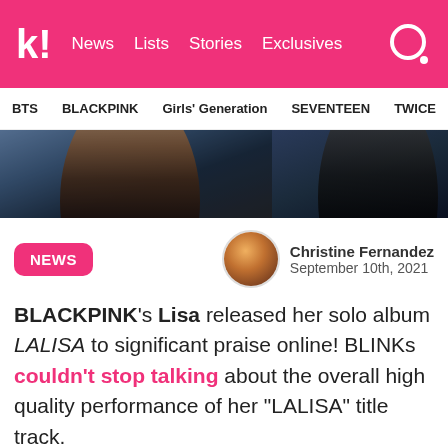k! News Lists Stories Exclusives
BTS  BLACKPINK  Girls' Generation  SEVENTEEN  TWICE
[Figure (photo): Two partial photos of people, appears to be K-pop artists, side by side]
NEWS  Christine Fernandez  September 10th, 2021
BLACKPINK's Lisa released her solo album LALISA to significant praise online! BLINKs couldn't stop talking about the overall high quality performance of her "LALISA" title track.
[Figure (photo): Blurred bokeh photo with gold/amber tones, appears to be performance or concert imagery of Lisa]